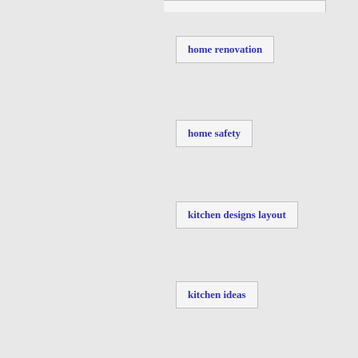home renovation
home safety
kitchen designs layout
kitchen ideas
Loft Conversion
Loft Conversions
Loft Conversions in Essex
modern kitchen designs
Patio Designs
Patio Doors
Patio Ideas
Property Dealing